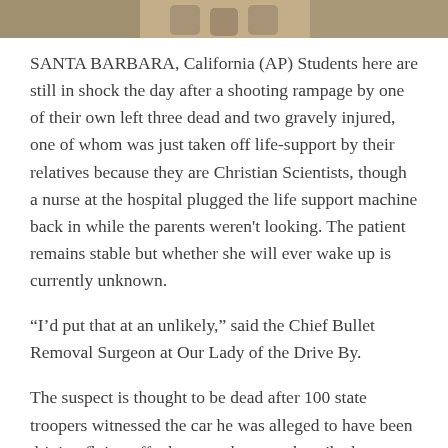[Figure (photo): Partial photo strip at the top of the page showing people, cropped.]
SANTA BARBARA, California (AP) Students here are still in shock the day after a shooting rampage by one of their own left three dead and two gravely injured, one of whom was just taken off life-support by their relatives because they are Christian Scientists, though a nurse at the hospital plugged the life support machine back in while the parents weren't looking. The patient remains stable but whether she will ever wake up is currently unknown.
“I’d put that at an unlikely,” said the Chief Bullet Removal Surgeon at Our Lady of the Drive By.
The suspect is thought to be dead after 100 state troopers witnessed the car he was alleged to have been driving flying off what a spokesman described as a “200-foot” cliff and into the Pacific Ocean.
READ MORE.